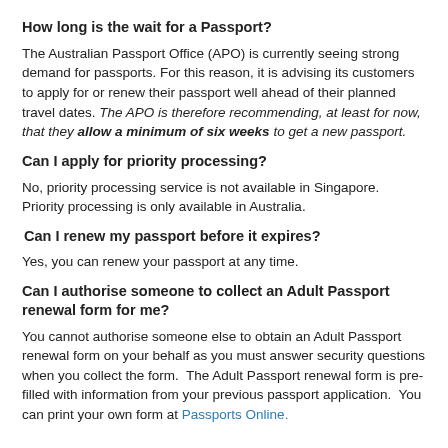How long is the wait for a Passport?
The Australian Passport Office (APO) is currently seeing strong demand for passports. For this reason, it is advising its customers to apply for or renew their passport well ahead of their planned travel dates. The APO is therefore recommending, at least for now, that they allow a minimum of six weeks to get a new passport.
Can I apply for priority processing?
No, priority processing service is not available in Singapore.  Priority processing is only available in Australia.
Can I renew my passport before it expires?
Yes, you can renew your passport at any time.
Can I authorise someone to collect an Adult Passport renewal form for me?
You cannot authorise someone else to obtain an Adult Passport renewal form on your behalf as you must answer security questions when you collect the form.  The Adult Passport renewal form is pre-filled with information from your previous passport application.  You can print your own form at Passports Online.